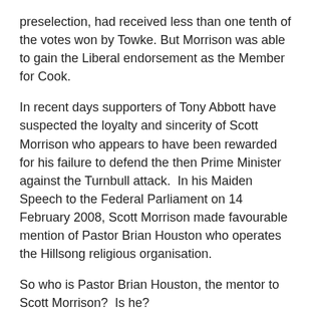preselection, had received less than one tenth of the votes won by Towke. But Morrison was able to gain the Liberal endorsement as the Member for Cook.
In recent days supporters of Tony Abbott have suspected the loyalty and sincerity of Scott Morrison who appears to have been rewarded for his failure to defend the then Prime Minister against the Turnbull attack.  In his Maiden Speech to the Federal Parliament on 14 February 2008, Scott Morrison made favourable mention of Pastor Brian Houston who operates the Hillsong religious organisation.
So who is Pastor Brian Houston, the mentor to Scott Morrison?  Is he?
This is the fellow who told a Royal Commission that